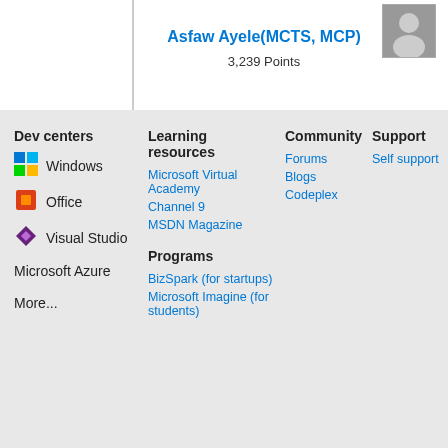Asfaw Ayele(MCTS, MCP)
3,239 Points
Dev centers
Windows
Office
Visual Studio
Microsoft Azure
More...
Learning resources
Microsoft Virtual Academy
Channel 9
MSDN Magazine
Programs
BizSpark (for startups)
Microsoft Imagine (for students)
Community
Forums
Blogs
Codeplex
Support
Self support